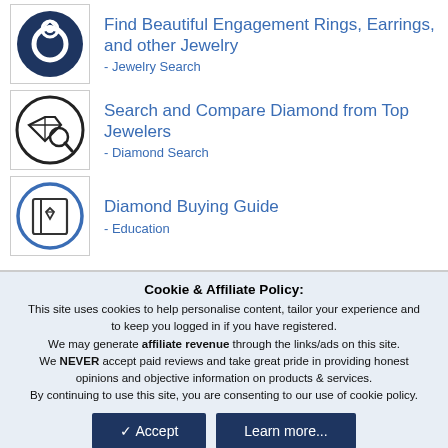[Figure (illustration): Dark navy circle icon with a ring/engagement ring symbol]
Find Beautiful Engagement Rings, Earrings, and other Jewelry
- Jewelry Search
[Figure (illustration): Circle icon with a diamond and magnifying glass symbol (search diamonds)]
Search and Compare Diamond from Top Jewelers
- Diamond Search
[Figure (illustration): Circle icon with a book showing a diamond on the cover (education/guide)]
Diamond Buying Guide
- Education
Cookie & Affiliate Policy: This site uses cookies to help personalise content, tailor your experience and to keep you logged in if you have registered. We may generate affiliate revenue through the links/ads on this site. We NEVER accept paid reviews and take great pride in providing honest opinions and objective information on products & services. By continuing to use this site, you are consenting to our use of cookie policy.
Accept
Learn more...